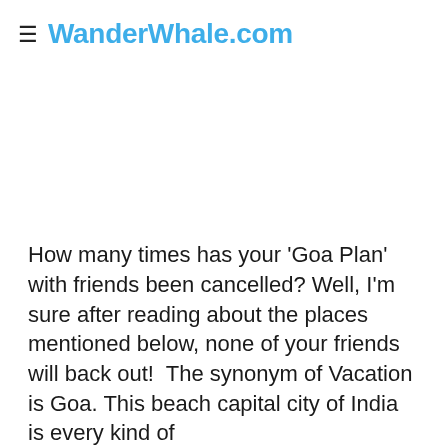≡ WanderWhale.com
How many times has your 'Goa Plan' with friends been cancelled? Well, I'm sure after reading about the places mentioned below, none of your friends will back out!  The synonym of Vacation is Goa. This beach capital city of India is every kind of